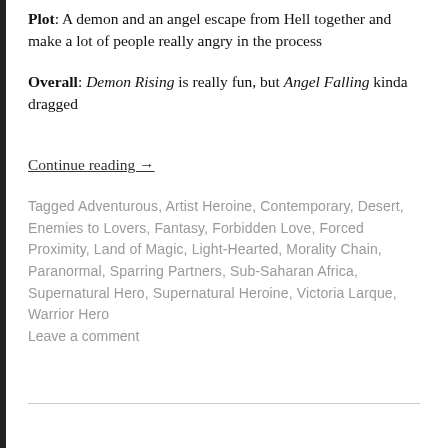Plot: A demon and an angel escape from Hell together and make a lot of people really angry in the process
Overall: Demon Rising is really fun, but Angel Falling kinda dragged
Continue reading →
Tagged Adventurous, Artist Heroine, Contemporary, Desert, Enemies to Lovers, Fantasy, Forbidden Love, Forced Proximity, Land of Magic, Light-Hearted, Morality Chain, Paranormal, Sparring Partners, Sub-Saharan Africa, Supernatural Hero, Supernatural Heroine, Victoria Larque, Warrior Hero
Leave a comment